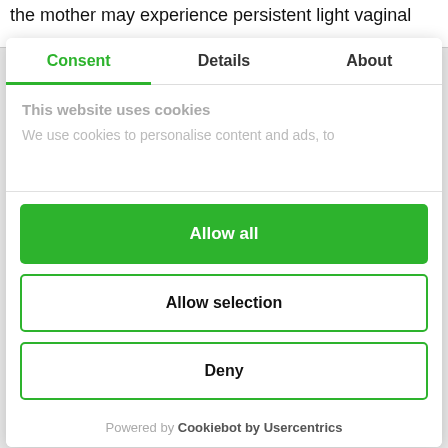the mother may experience persistent light vaginal
Consent | Details | About
This website uses cookies
We use cookies to personalise content and ads, to
Allow all
Allow selection
Deny
Powered by Cookiebot by Usercentrics